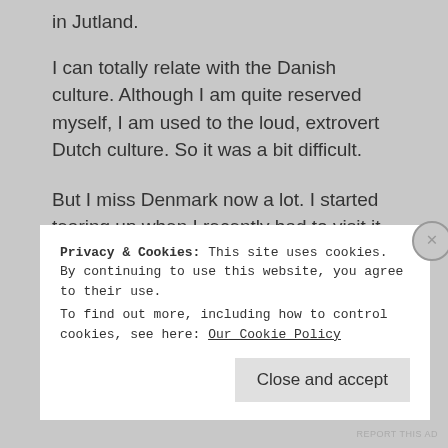in Jutland.
I can totally relate with the Danish culture. Although I am quite reserved myself, I am used to the loud, extrovert Dutch culture. So it was a bit difficult.
But I miss Denmark now a lot. I started tearing up when I recently had to visit it for work and drove through all the place I had all the memories of. 🙂
★ Liked by 2 people
Privacy & Cookies: This site uses cookies. By continuing to use this website, you agree to their use. To find out more, including how to control cookies, see here: Our Cookie Policy
Close and accept